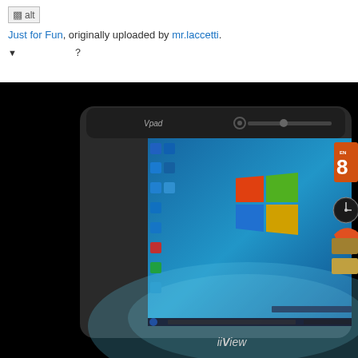[Figure (other): Broken image placeholder icon with alt text]
Just for Fun, originally uploaded by mr.laccetti.
▼ 　　　　　？
[Figure (photo): Photo of a tablet device branded 'Vpad' and 'iiView' showing a Windows 7 desktop with the Windows logo on a blue background, desktop icons on the left, and gadgets on the right side including a calendar showing 8 and a clock.]